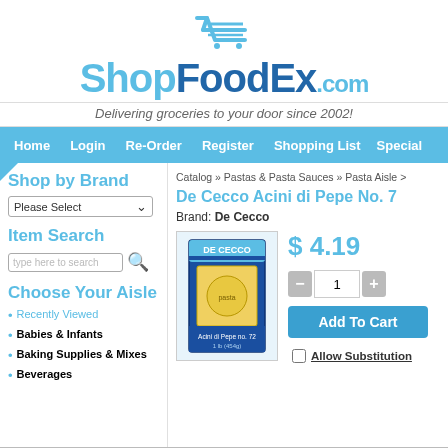[Figure (logo): ShopFoodEx.com logo with shopping cart icon above the text]
Delivering groceries to your door since 2002!
Home  Login  Re-Order  Register  Shopping List  Special
Shop by Brand
Please Select
Item Search
type here to search
Choose Your Aisle
Recently Viewed
Babies & Infants
Baking Supplies & Mixes
Beverages
Catalog » Pastas & Pasta Sauces » Pasta Aisle >
De Cecco Acini di Pepe No. 7
Brand: De Cecco
[Figure (photo): De Cecco Acini di Pepe No. 72 pasta box, blue packaging]
$ 4.19
1
Add To Cart
Allow Substitution
Other products like this one
Displaying 1 to 1 (of 1 products)